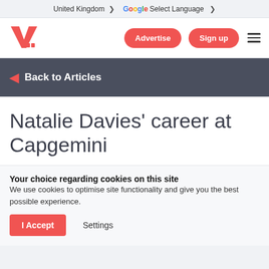United Kingdom  ▾   Google Select Language  ▾
[Figure (logo): Vercida logo — red stylised V with quotation marks]
Advertise
Sign up
◄  Back to Articles
Natalie Davies' career at Capgemini
Your choice regarding cookies on this site
We use cookies to optimise site functionality and give you the best possible experience.
I Accept   Settings